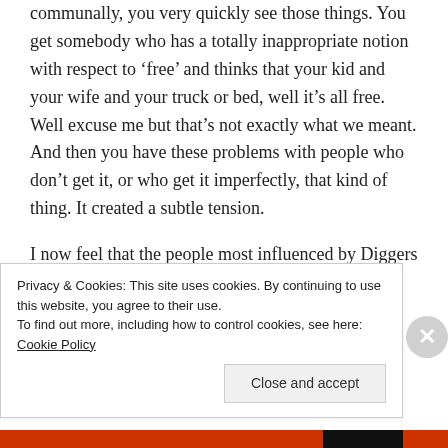communally, you very quickly see those things. You get somebody who has a totally inappropriate notion with respect to 'free' and thinks that your kid and your wife and your truck or bed, well it's all free. Well excuse me but that's not exactly what we meant. And then you have these problems with people who don't get it, or who get it imperfectly, that kind of thing. It created a subtle tension.
I now feel that the people most influenced by Diggers activities were ourselves and to a lesser degree the people that were around us. I mean, I know we...
Privacy & Cookies: This site uses cookies. By continuing to use this website, you agree to their use.
To find out more, including how to control cookies, see here: Cookie Policy
Close and accept